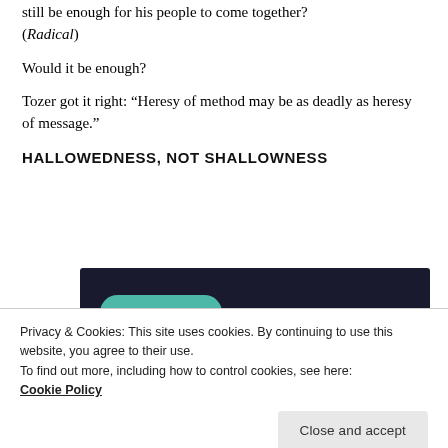still be enough for his people to come together? (Radical)
Would it be enough?
Tozer got it right: “Heresy of method may be as deadly as heresy of message.”
HALLOWEDNESS, NOT SHALLOWNESS
[Figure (other): Dark banner advertisement with a teal 'Learn More' button]
Privacy & Cookies: This site uses cookies. By continuing to use this website, you agree to their use.
To find out more, including how to control cookies, see here:
Cookie Policy
Close and accept